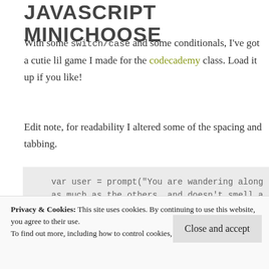JAVASCRIPT MINICHOOSE
With some switch/case and some conditionals, I've got a cutie lil game I made for the codecademy class. Load it up if you like!
Edit note, for readability I altered some of the spacing and tabbing.
[Figure (screenshot): Code block showing JavaScript: var user = prompt("You are wandering along... as much as the others, and doesn't smell a..."]
Privacy & Cookies: This site uses cookies. By continuing to use this website, you agree to their use. To find out more, including how to control cookies, see here: Cookie Policy
Close and accept
[Figure (screenshot): Code line: SHIP IS BEING INVADED ---- EVACUATE TO ESC(]